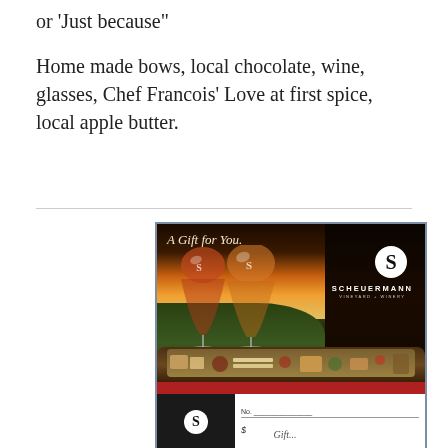or 'Just because"
Home made bows, local chocolate, wine, glasses, Chef Francois' Love at first spice, local apple butter.
[Figure (photo): Scheuermann Vineyard + Winery gift card featuring two wine glasses with an outdoor vineyard sunset scene and a charcuterie board, with the text 'A Gift for You.' in cursive, the Scheuermann S logo, brand name, and a gift certificate section below with 'No.' line.]